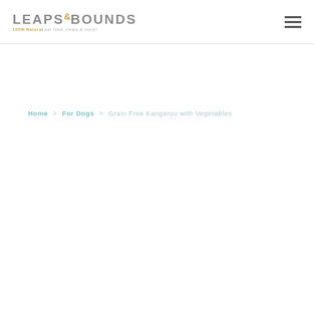LEAPS & BOUNDS 100% Natural pet food, treats & more!
Home > For Dogs > Grain Free Kangaroo with Vegetables